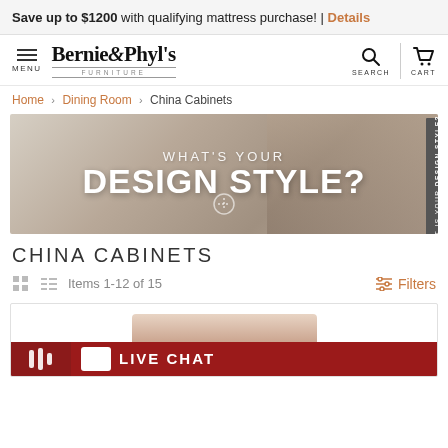Save up to $1200 with qualifying mattress purchase! | Details
[Figure (logo): Bernie & Phyl's Furniture logo with hamburger menu, search and cart icons]
Home > Dining Room > China Cabinets
[Figure (photo): Banner image with text WHAT'S YOUR DESIGN STYLE? over a furniture room background]
CHINA CABINETS
Items 1-12 of 15
[Figure (photo): Product image showing a china cabinet, partially visible at bottom of page]